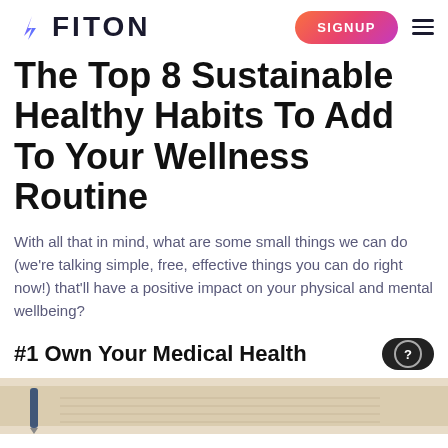FITON | SIGNUP
The Top 8 Sustainable Healthy Habits To Add To Your Wellness Routine
With all that in mind, what are some small things we can do (we’re talking simple, free, effective things you can do right now!) that’ll have a positive impact on your physical and mental wellbeing?
#1 Own Your Medical Health
[Figure (photo): A photo of a notepad or planner with a pen, partially visible at the bottom of the page, suggesting medical or health record keeping.]